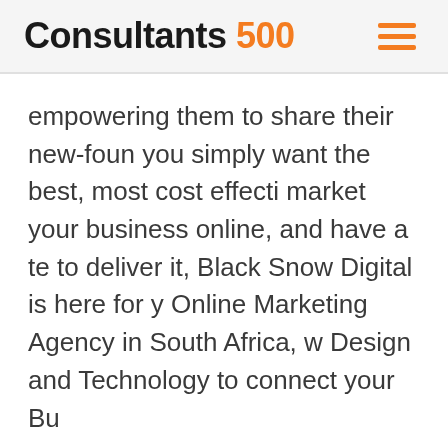Consultants 500
empowering them to share their new-foun you simply want the best, most cost effecti market your business online, and have a te to deliver it, Black Snow Digital is here for y Online Marketing Agency in South Africa, w Design and Technology to connect your Bu
Advisory type